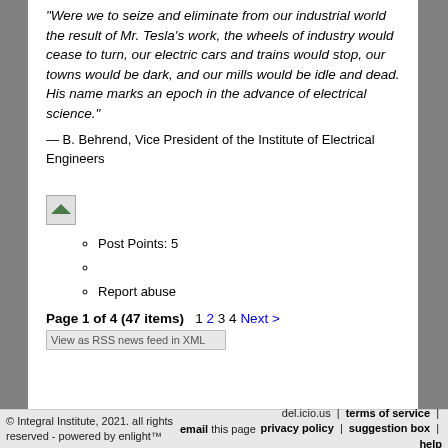“Were we to seize and eliminate from our industrial world the result of Mr. Tesla’s work, the wheels of industry would cease to turn, our electric cars and trains would stop, our towns would be dark, and our mills would be idle and dead. His name marks an epoch in the advance of electrical science.”
— B. Behrend, Vice President of the Institute of Electrical Engineers
[Figure (illustration): Small broken/loading image icon placeholder]
Post Points: 5
Report abuse
Page 1 of 4 (47 items)   1 2 3 4 Next >
View as RSS news feed in XML
© Integral Institute, 2021. all rights reserved - powered by enlight™  |  email this page  |  del.icio.us | terms of service | privacy policy | suggestion box | help